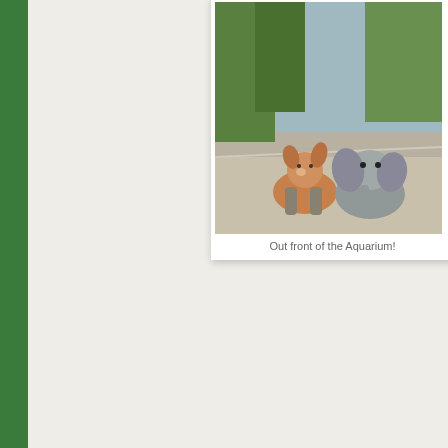[Figure (photo): Two stuffed animals (a brown animal and a grey elephant) sitting on gravel/pavement outside, with trees in background. Polaroid-style framed photo.]
Out front of the Aquarium!
We decided to head into the Freshwater building first! There, they no have Ranger Rick's backyard safari!
We headed down to check this area out  and catch a live animal encounter! We stayed to meet some cool birds, including the Galah.
[Figure (photo): Indoor exhibit photo showing a Ranger Rick's Backyard Safari themed mural with animated raccoon character wearing a hat, colorful illustrated nature background.]